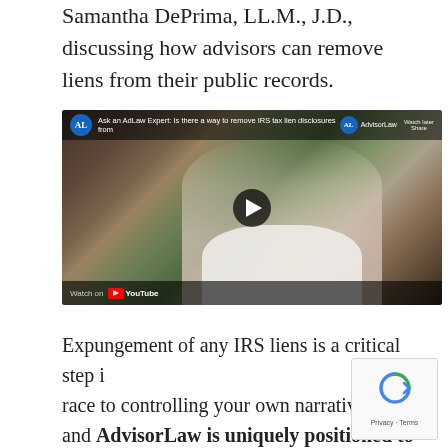Samantha DePrima, LL.M., J.D., discussing how advisors can remove liens from their public records.
[Figure (screenshot): YouTube video thumbnail showing Samantha DePrima speaking. Video title: 'Ask an AdLaw Expert: Is there a way to remove IRS tax lien disclosures from...' with AdvisorLaw branding. Play button in center. 'Watch on YouTube' label at bottom.]
Expungement of any IRS liens is a critical step in the race to controlling your own narrative, and AdvisorLaw is uniquely positioned to help